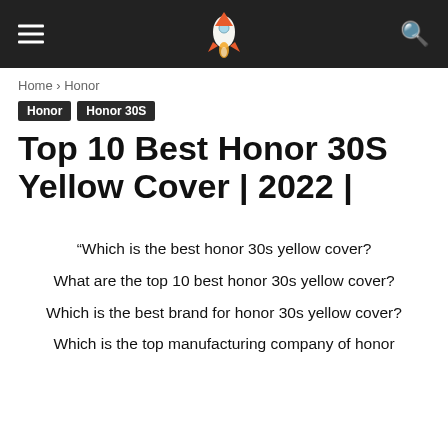≡ 🚀 🔍
Home › Honor
Honor  Honor 30S
Top 10 Best Honor 30S Yellow Cover | 2022 |
“Which is the best honor 30s yellow cover?
What are the top 10 best honor 30s yellow cover?
Which is the best brand for honor 30s yellow cover?
Which is the top manufacturing company of honor